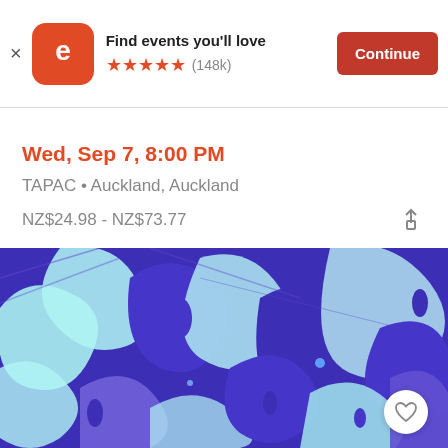[Figure (logo): Eventbrite app banner with orange logo, 'Find events you'll love' text, 5 star rating (148k), and Continue button]
Wed, Sep 7, 8:00 PM
TAPAC • Auckland, Auckland
NZ$24.98 - NZ$73.77
[Figure (photo): Abstract artwork with swirling blue/purple and cyan/white patterns resembling textured paint or monstera leaves]